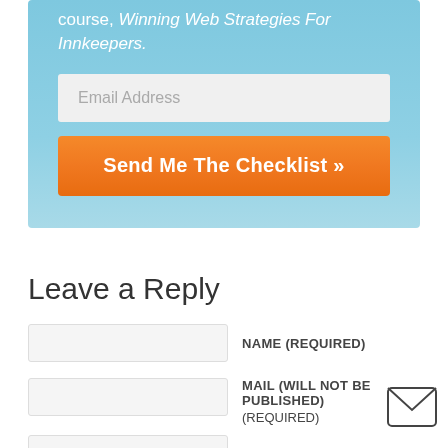course, Winning Web Strategies For Innkeepers.
[Figure (screenshot): Email address input field with placeholder text 'Email Address']
[Figure (screenshot): Orange button with text 'Send Me The Checklist »']
Leave a Reply
NAME (REQUIRED)
MAIL (WILL NOT BE PUBLISHED) (REQUIRED)
[Figure (illustration): Envelope/mail icon]
WEBSITE